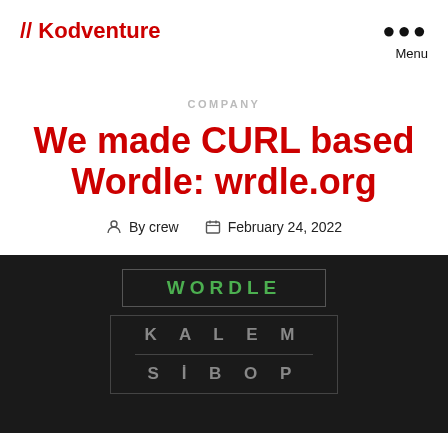// Kodventure
Menu
COMPANY
We made CURL based Wordle: wrdle.org
By crew  February 24, 2022
[Figure (screenshot): Dark-themed Wordle game screenshot showing WORDLE title in green, with rows spelling KALEM and SİBOP in grey letters on dark background]